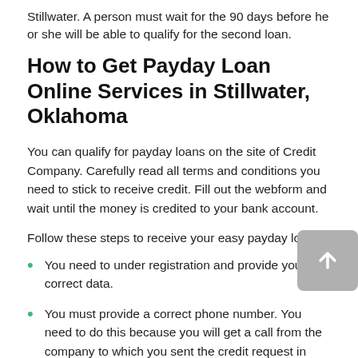Stillwater. A person must wait for the 90 days before he or she will be able to qualify for the second loan.
How to Get Payday Loan Online Services in Stillwater, Oklahoma
You can qualify for payday loans on the site of Credit Company. Carefully read all terms and conditions you need to stick to receive credit. Fill out the webform and wait until the money is credited to your bank account.
Follow these steps to receive your easy payday loans:
You need to under registration and provide your correct data.
You must provide a correct phone number. You need to do this because you will get a call from the company to which you sent the credit request in Stillwater in Oklahoma.